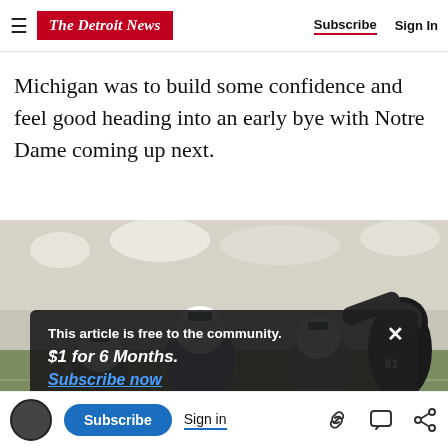The Detroit News — Subscribe | Sign In
Michigan was to build some confidence and feel good heading into an early bye with Notre Dame coming up next.
[Figure (photo): Michigan State football players in white helmets and green Spartan logos during a game against an opponent wearing black jerseys and gold helmets (number 61 visible). Players are in a scrimmage pile. Crowd in stadium background.]
This article is free to the community.
$1 for 6 Months.
Subscribe now
Subscribe | Sign in